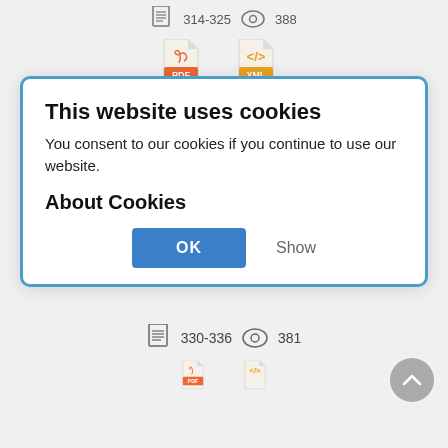[Figure (screenshot): Website screenshot showing a cookie consent modal dialog overlaid on a journal article listing page. The modal has a blue border and contains 'This website uses cookies' heading, consent text, 'About Cookies' subheading, OK button and Show link. Behind the modal, partially visible are a journal article title about civil aviation, abstract text, and page/view count information.]
314-325 388
[Figure (screenshot): PDF icon labeled (RUS) and XML icon labeled (JATS XML)]
Countering acts of misuse of civil aviation (international legal problems)
Full P...
Abstract
The article considers the issue concerning the international legal problem of using armed
RUDN Journal of Law. 2014(4):330-336
This website uses cookies
You consent to our cookies if you continue to use our website.
About Cookies
OK
Show
330-336  381
[Figure (screenshot): Partial PDF icon and partial XML icon visible at bottom of page]